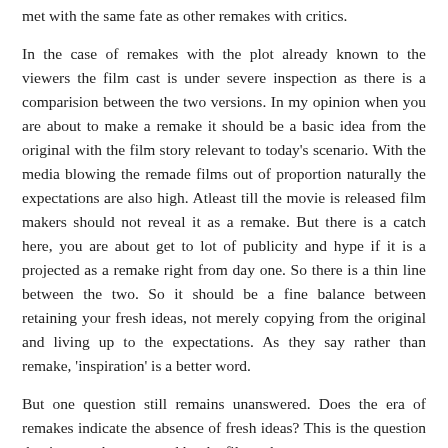met with the same fate as other remakes with critics.
In the case of remakes with the plot already known to the viewers the film cast is under severe inspection as there is a comparision between the two versions. In my opinion when you are about to make a remake it should be a basic idea from the original with the film story relevant to today's scenario. With the media blowing the remade films out of proportion naturally the expectations are also high. Atleast till the movie is released film makers should not reveal it as a remake. But there is a catch here, you are about get to lot of publicity and hype if it is a projected as a remake right from day one. So there is a thin line between the two. So it should be a fine balance between retaining your fresh ideas, not merely copying from the original and living up to the expectations. As they say rather than remake, 'inspiration' is a better word.
But one question still remains unanswered. Does the era of remakes indicate the absence of fresh ideas? This is the question that is yet to be answered by the filmmakers.
Mr.Amitabh Bachchan is now Dr.Amitabh Bachchan with the Delhi University awarding him honorary doctorate. Congratulations Dr.Amitabh Bachchan.